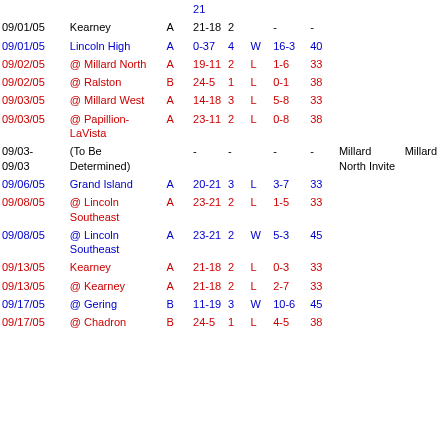| Date | Opponent | Lev | Score | Sets | W/L | Record | Att | Tournament | Site |
| --- | --- | --- | --- | --- | --- | --- | --- | --- | --- |
|  |  |  | 21 |  |  |  |  |  |  |
| 09/01/05 | Kearney | A | 21-18 | 2 |  | - | - |  |  |
| 09/01/05 | Lincoln High | A | 0-37 | 4 | W | 16-3 | 40 |  |  |
| 09/02/05 | @ Millard North | A | 19-11 | 2 | L | 1-6 | 33 |  |  |
| 09/02/05 | @ Ralston | B | 24-5 | 1 | L | 0-1 | 38 |  |  |
| 09/03/05 | @ Millard West | A | 14-18 | 3 | L | 5-8 | 33 |  |  |
| 09/03/05 | @ Papillion-LaVista | A | 23-11 | 2 | L | 0-8 | 38 |  |  |
| 09/03-09/03 | (To Be Determined) |  | - | - |  | - | - | Millard North Invite | Millard |
| 09/06/05 | Grand Island | A | 20-21 | 3 | L | 3-7 | 33 |  |  |
| 09/08/05 | @ Lincoln Southeast | A | 23-21 | 2 | L | 1-5 | 33 |  |  |
| 09/08/05 | @ Lincoln Southeast | A | 23-21 | 2 | W | 5-3 | 45 |  |  |
| 09/13/05 | Kearney | A | 21-18 | 2 | L | 0-3 | 33 |  |  |
| 09/13/05 | @ Kearney | A | 21-18 | 2 | L | 2-7 | 33 |  |  |
| 09/17/05 | @ Gering | B | 11-19 | 3 | W | 10-6 | 45 |  |  |
| 09/17/05 | @ Chadron | B | 24-5 | 1 | L | 4-5 | 38 |  |  |